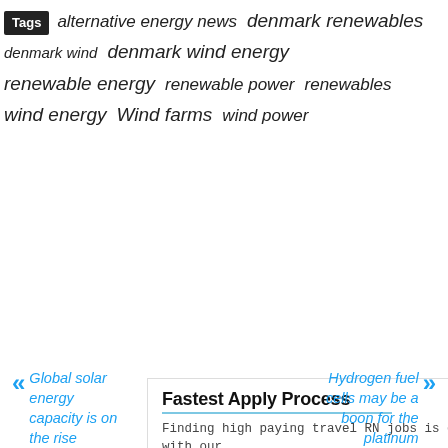Tags alternative energy news denmark renewables denmark wind denmark wind energy renewable energy renewable power renewables wind energy Wind farms wind power
[Figure (screenshot): Advertisement box: 'Fastest Apply Process' - Finding high paying travel RN jobs is easy with our traveler app. Medical Solutions. Open button.]
« Global solar energy capacity is on the rise
Hydrogen fuel cells may be a boon for the platinum industry »